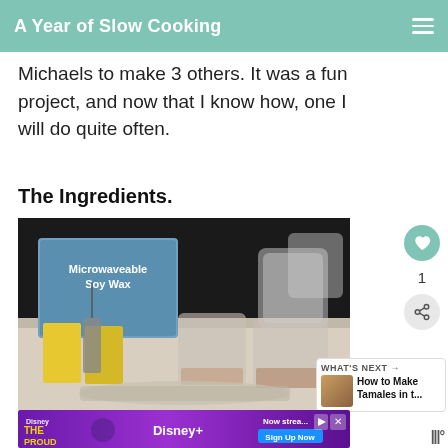A Year of Slow Cooking
Michaels to make 3 others. It was a fun project, and now that I know how, one I will do quite often.
The Ingredients.
[Figure (photo): Photo of candle-making ingredients including a box of Microwaveable Soy Wax, small yellow packages of candle supplies, and several glass jars and containers on a table.]
WHAT'S NEXT → How to Make Tamales in t...